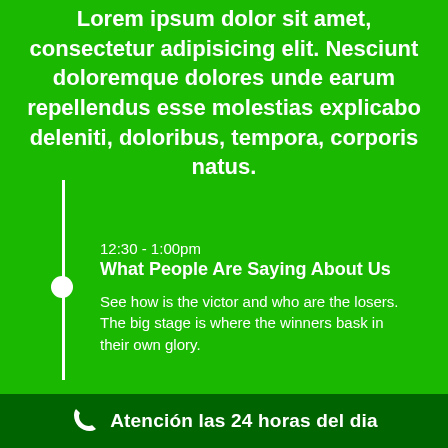Lorem ipsum dolor sit amet, consectetur adipisicing elit. Nesciunt doloremque dolores unde earum repellendus esse molestias explicabo deleniti, doloribus, tempora, corporis natus.
12:30 - 1:00pm
What People Are Saying About Us
See how is the victor and who are the losers. The big stage is where the winners bask in their own glory.
Atención las 24 horas del dia